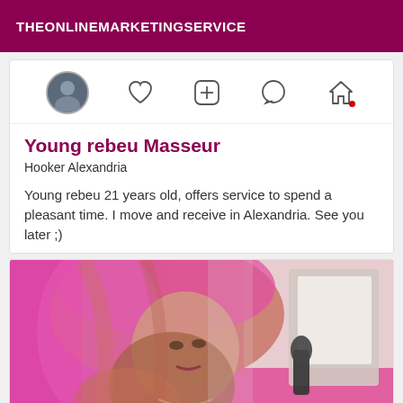THEONLINEMARKETINGSERVICE
[Figure (screenshot): App navigation bar with profile photo circle, heart icon, plus icon, message bubble icon, and home icon with red notification dot]
Young rebeu Masseur
Hooker Alexandria
Young rebeu 21 years old, offers service to spend a pleasant time. I move and receive in Alexandria. See you later ;)
[Figure (photo): Photo of a young person with pink/magenta hair, looking at camera, pink fabric in background with what appears to be a microphone and laptop/screen visible]